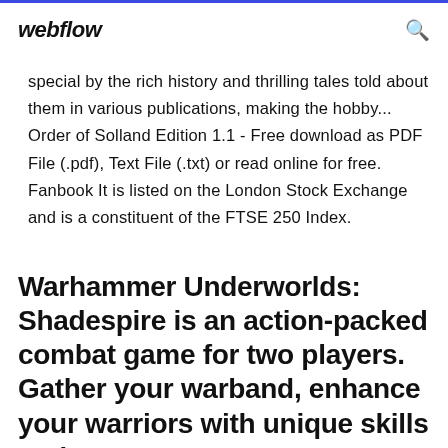webflow
special by the rich history and thrilling tales told about them in various publications, making the hobby... Order of Solland Edition 1.1 - Free download as PDF File (.pdf), Text File (.txt) or read online for free. Fanbook It is listed on the London Stock Exchange and is a constituent of the FTSE 250 Index.
Warhammer Underworlds: Shadespire is an action-packed combat game for two players. Gather your warband, enhance your warriors with unique skills and